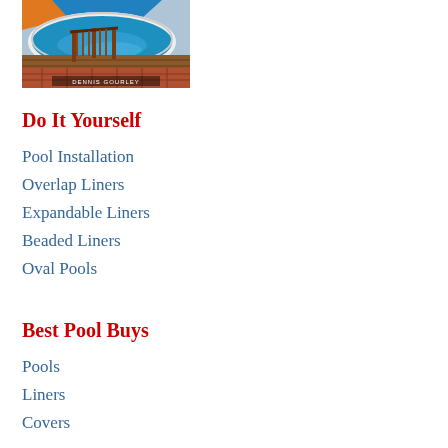[Figure (photo): Above-ground swimming pool with wooden deck and railing, blue water visible. Text overlay reads 'DENNIS GOURLEY' at the bottom.]
Do It Yourself
Pool Installation
Overlap Liners
Expandable Liners
Beaded Liners
Oval Pools
Best Pool Buys
Pools
Liners
Covers